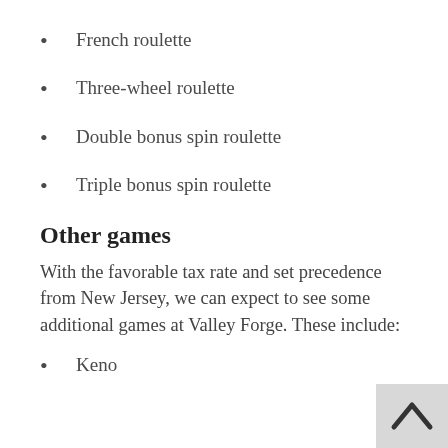French roulette
Three-wheel roulette
Double bonus spin roulette
Triple bonus spin roulette
Other games
With the favorable tax rate and set precedence from New Jersey, we can expect to see some additional games at Valley Forge. These include:
Keno